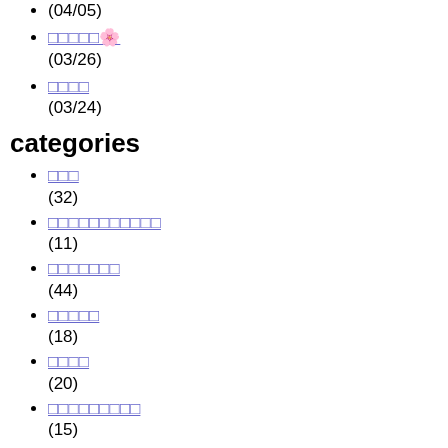(04/05)
□□□□□&#127800;
(03/26)
□□□□
(03/24)
categories
□□□
(32)
□□□□□□□□□□□
(11)
□□□□□□□
(44)
□□□□□
(18)
□□□□
(20)
□□□□□□□□□
(15)
□□□□
(52)
□□□□□□□
(10)